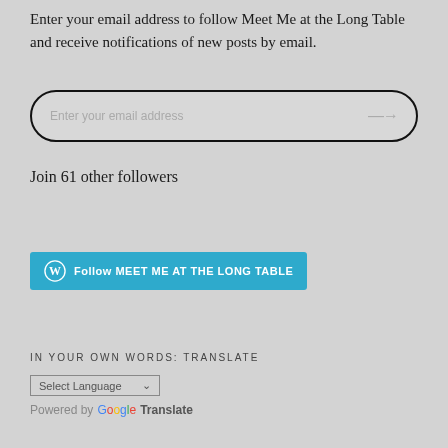Enter your email address to follow Meet Me at the Long Table and receive notifications of new posts by email.
[Figure (other): Email input field with rounded border and arrow button, placeholder text 'Enter your email address']
Join 61 other followers
[Figure (other): Blue follow button with WordPress icon and text 'Follow MEET ME AT THE LONG TABLE']
IN YOUR OWN WORDS: TRANSLATE
[Figure (other): Language selector dropdown with 'Select Language' placeholder and chevron]
Powered by Google Translate